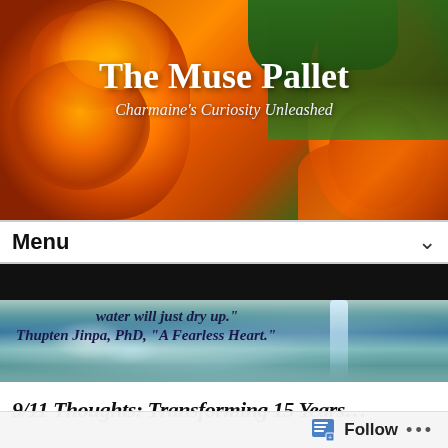[Figure (photo): Orange marigold flowers with green foliage background, website header banner]
The Muse Pallet
Charmaine's Curiosity Unleashed
[Figure (screenshot): Menu navigation dropdown bar with chevron]
[Figure (photo): Splashing water with quote overlay: 'water will just dry up.' Thupten Jinpa, PhD, "A Fearless Heart."]
water will just dry up." Thupten Jinpa, PhD, "A Fearless Heart."
9/11 Thoughts: Transforming 15 Years…
Follow